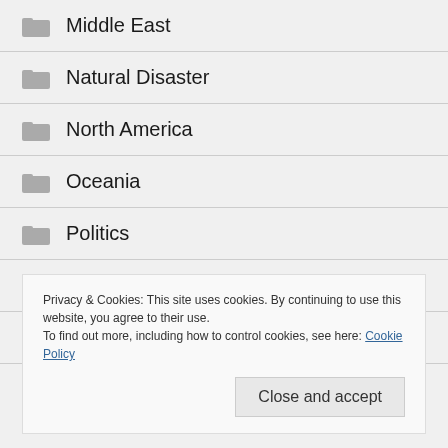Middle East
Natural Disaster
North America
Oceania
Politics
Race
Refugees
Privacy & Cookies: This site uses cookies. By continuing to use this website, you agree to their use.
To find out more, including how to control cookies, see here: Cookie Policy
Close and accept